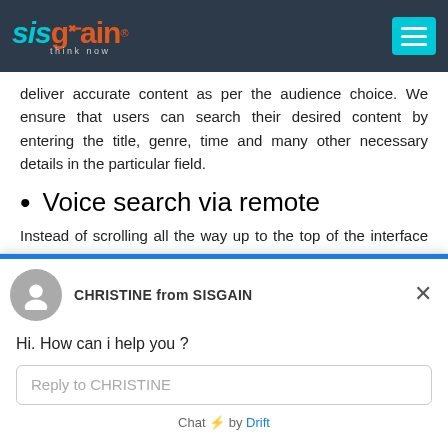SISGAIN — think now (logo) with hamburger menu
deliver accurate content as per the audience choice. We ensure that users can search their desired content by entering the title, genre, time and many other necessary details in the particular field.
Voice search via remote
Instead of scrolling all the way up to the top of the interface and painfully typing out the name of the show thing you are looking for. You can easily speak the
[Figure (screenshot): Chat widget overlay from SISGAIN showing agent CHRISTINE, greeting message 'Hi. How can i help you ?', reply input box, and 'Chat by Drift' footer]